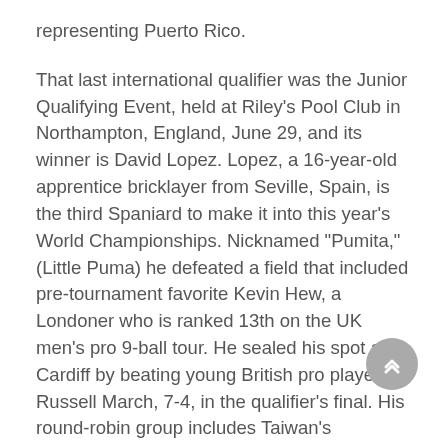representing Puerto Rico.
That last international qualifier was the Junior Qualifying Event, held at Riley's Pool Club in Northampton, England, June 29, and its winner is David Lopez. Lopez, a 16-year-old apprentice bricklayer from Seville, Spain, is the third Spaniard to make it into this year's World Championships. Nicknamed "Pumita," (Little Puma) he defeated a field that included pre-tournament favorite Kevin Hew, a Londoner who is ranked 13th on the UK men's pro 9-ball tour. He sealed his spot at Cardiff by beating young British pro player Russell March, 7-4, in the qualifier's final. His round-robin group includes Taiwan's intimidating Fong Pang Chao.
Matchroom sport, the organizers of this event, have set up a website devoted to the championships, providing information on the round-robin groupings and more: http://worldpoolchampionship.com